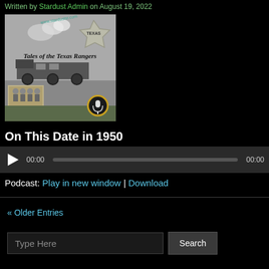Written by Stardust Admin on August 19, 2022
[Figure (illustration): Album/podcast cover for Tales of the Texas Rangers — black and white image with a train, Texas Rangers badge, group photo, and microphone logo. Text: www.stardustsr.com, Tales of the Texas Rangers]
On This Date in 1950
[Figure (other): Audio player with play button, time display 00:00 and 00:00, and progress bar]
Podcast: Play in new window | Download
« Older Entries
Type Here  Search